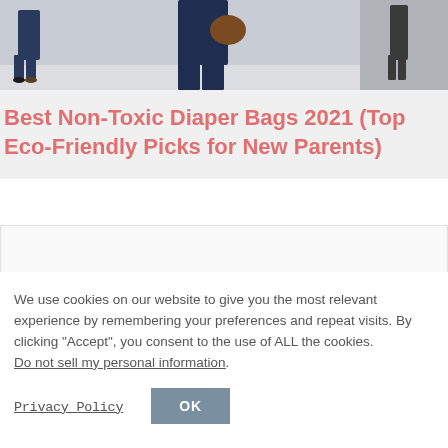[Figure (photo): Partial photo of a person walking, wearing dark blue pants and carrying a brown bag, cropped to show only torso and legs area with light background floor.]
Best Non-Toxic Diaper Bags 2021 (Top Eco-Friendly Picks for New Parents)
[Figure (other): Advertisement/ad placeholder box with light gray background.]
We use cookies on our website to give you the most relevant experience by remembering your preferences and repeat visits. By clicking “Accept”, you consent to the use of ALL the cookies. Do not sell my personal information.
Privacy Policy
OK